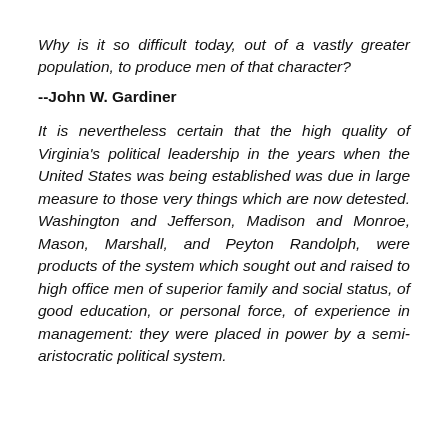Why is it so difficult today, out of a vastly greater population, to produce men of that character?
--John W. Gardiner
It is nevertheless certain that the high quality of Virginia's political leadership in the years when the United States was being established was due in large measure to those very things which are now detested. Washington and Jefferson, Madison and Monroe, Mason, Marshall, and Peyton Randolph, were products of the system which sought out and raised to high office men of superior family and social status, of good education, or personal force, of experience in management: they were placed in power by a semi-aristocratic political system.